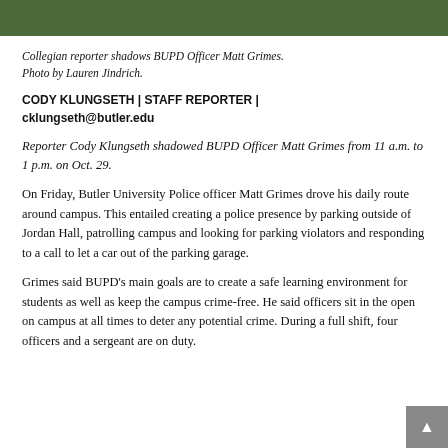[Figure (photo): Photo of a tree/foliage area, cropped at top of page]
Collegian reporter shadows BUPD Officer Matt Grimes. Photo by Lauren Jindrich.
CODY KLUNGSETH | STAFF REPORTER | cklungseth@butler.edu
Reporter Cody Klungseth shadowed BUPD Officer Matt Grimes from 11 a.m. to 1 p.m. on Oct. 29.
On Friday, Butler University Police officer Matt Grimes drove his daily route around campus. This entailed creating a police presence by parking outside of Jordan Hall, patrolling campus and looking for parking violators and responding to a call to let a car out of the parking garage.
Grimes said BUPD's main goals are to create a safe learning environment for students as well as keep the campus crime-free. He said officers sit in the open on campus at all times to deter any potential crime. During a full shift, four officers and a sergeant are on duty.